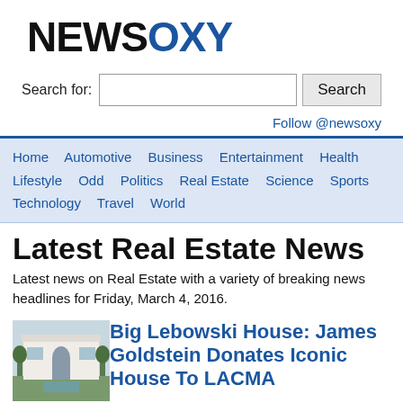NEWSOXY
Search for:
Follow @newsoxy
Home  Automotive  Business  Entertainment  Health  Lifestyle  Odd  Politics  Real Estate  Science  Sports  Technology  Travel  World
Latest Real Estate News
Latest news on Real Estate with a variety of breaking news headlines for Friday, March 4, 2016.
[Figure (photo): Exterior of a modern white house with a pool/reflecting pool and trees]
Big Lebowski House: James Goldstein Donates Iconic House To LACMA